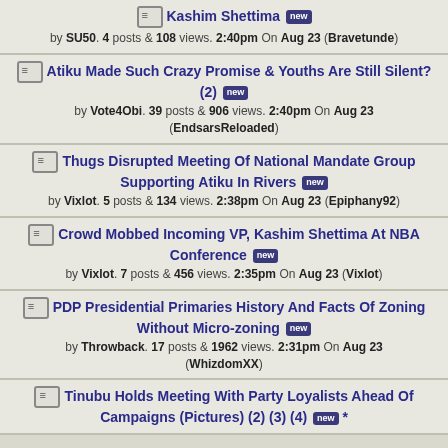Kashim Shettima [new] by SU50. 4 posts & 108 views. 2:40pm On Aug 23 (Bravetunde)
Atiku Made Such Crazy Promise & Youths Are Still Silent? (2) [new] by Vote4Obi. 39 posts & 906 views. 2:40pm On Aug 23 (EndsarsReloaded)
Thugs Disrupted Meeting Of National Mandate Group Supporting Atiku In Rivers [new] by Vixlot. 5 posts & 134 views. 2:38pm On Aug 23 (Epiphany92)
Crowd Mobbed Incoming VP, Kashim Shettima At NBA Conference [new] by Vixlot. 7 posts & 456 views. 2:35pm On Aug 23 (Vixlot)
PDP Presidential Primaries History And Facts Of Zoning Without Micro-zoning [new] by Throwback. 17 posts & 1962 views. 2:31pm On Aug 23 (WhizdomXX)
Tinubu Holds Meeting With Party Loyalists Ahead Of Campaigns (Pictures) (2) (3) (4) [new] *